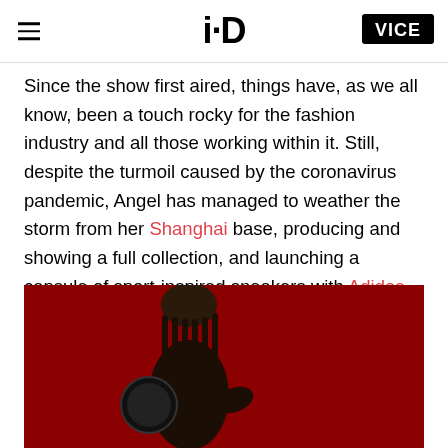i-D | VICE
Since the show first aired, things have, as we all know, been a touch rocky for the fashion industry and all those working within it. Still, despite the turmoil caused by the coronavirus pandemic, Angel has managed to weather the storm from her Shanghai base, producing and showing a full collection, and launching a capsule of sport-inspired sneakers with Adidas Originals.
[Figure (photo): Person with braided hair on a deep red background, photographed from approximately waist up, holding what appears to be a round object.]